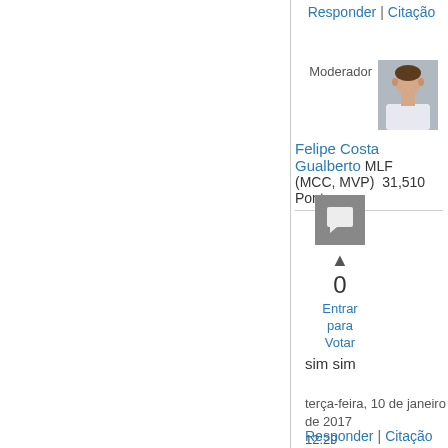Responder | Citação
Moderador
[Figure (photo): Avatar photo of Felipe Costa Gualberto, a young man in a white shirt]
Felipe Costa Gualberto MLF (MCC, MVP)    31,510 Pontos
[Figure (other): Comment/chat icon in grey square with upvote arrow, vote count 0, and 'Entrar para Votar' link]
sim sim
terça-feira, 10 de janeiro de 2017 12:29
Responder | Citação